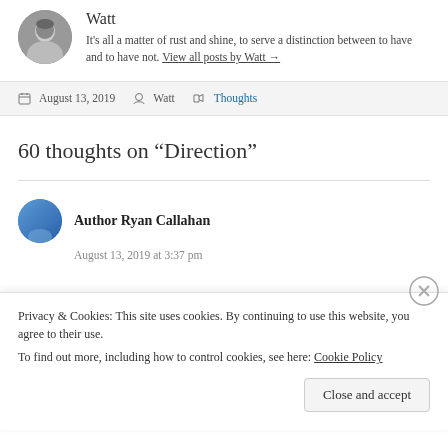[Figure (photo): Circular avatar photo of Watt, black and white portrait of a man]
Watt
It's all a matter of rust and shine, to serve a distinction between to have and to have not. View all posts by Watt →
August 13, 2019   Watt   Thoughts
60 thoughts on “Direction”
[Figure (photo): Circular avatar of commenter, blue gradient circle]
Author Ryan Callahan
August 13, 2019 at 3:37 pm
Privacy & Cookies: This site uses cookies. By continuing to use this website, you agree to their use.
To find out more, including how to control cookies, see here: Cookie Policy